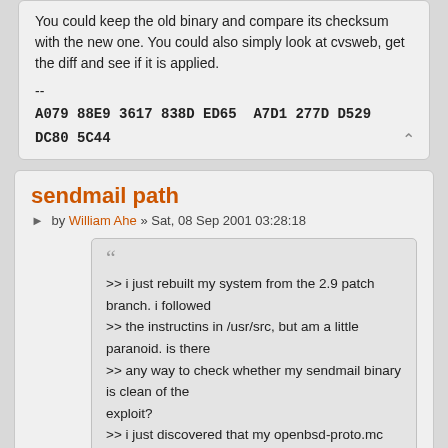You could keep the old binary and compare its checksum with the new one. You could also simply look at cvsweb, get the diff and see if it is applied.
--
A079 88E9 3617 838D ED65  A7D1 277D D529 DC80 5C44
sendmail path
by William Ahe » Sat, 08 Sep 2001 03:28:18
>> i just rebuilt my system from the 2.9 patch branch. i followed
>> the instructins in /usr/src, but am a little paranoid. is there
>> any way to check whether my sendmail binary is clean of the
exploit?
>> i just discovered that my openbsd-proto.mc file was updated, so
>> that was a good sign.
>You could keep the old binary and compare its checksum with the
new one.
>You could also simply look at cvsweb, get the diff and see if it is
applied.